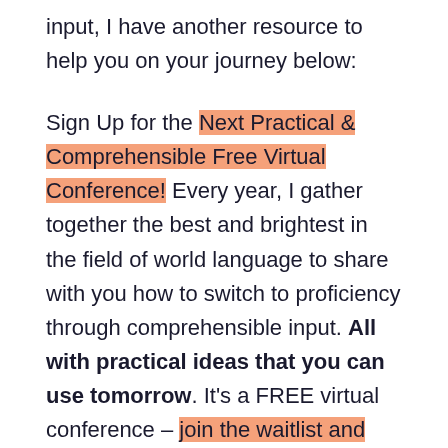input, I have another resource to help you on your journey below:
Sign Up for the Next Practical & Comprehensible Free Virtual Conference! Every year, I gather together the best and brightest in the field of world language to share with you how to switch to proficiency through comprehensible input. All with practical ideas that you can use tomorrow. It's a FREE virtual conference – join the waitlist and find out more about the speakers here.
Sincerely,